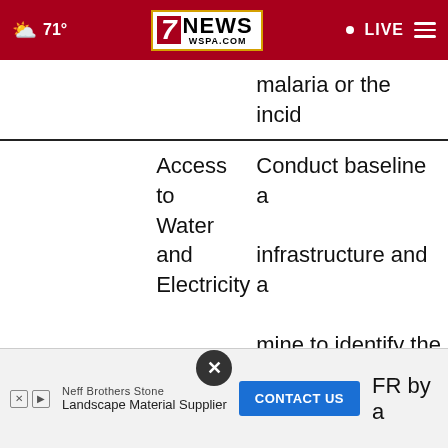7NEWS WSPA.COM | 71° | LIVE
|  | Topic | Description |
| --- | --- | --- |
|  |  | malaria or the incid… |
|  | Access to Water and Electricity | Conduct baseline a… infrastructure and a… mine to identify the… Company can provi… |
|  | Human Rights | Conduct baseline h… assessment across … base and continue m… the VPSR. |
|  | and | FR by at… |
FR by at…
and
Neff Brothers Stone Landscape Material Supplier | CONTACT US